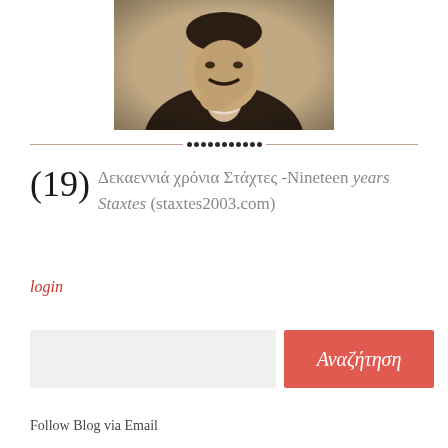[Figure (photo): Black and white vintage portrait photograph of a man with a mustache wearing a dark coat and white shirt collar, cropped to show head and upper torso]
[Figure (other): Decorative divider with horizontal lines and a row of small black dots in the center]
(19) Δεκαεννιά χρόνια Στάχτες -Nineteen years Staxtes (staxtes2003.com)
login
[Figure (other): Search input field (light gray rectangle) and a red search button labeled Αναζήτηση]
Follow Blog via Email